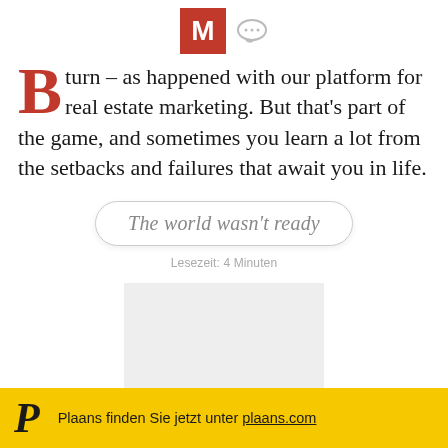M (Medium logo)
turn – as happened with our platform for real estate marketing. But that's part of the game, and sometimes you learn a lot from the setbacks and failures that await you in life.
The world wasn't ready
Lesezeit: 4 Minuten
[Figure (photo): Partial image placeholder in the lower center of the page]
Plaans finden Sie jetzt unter plaans.com